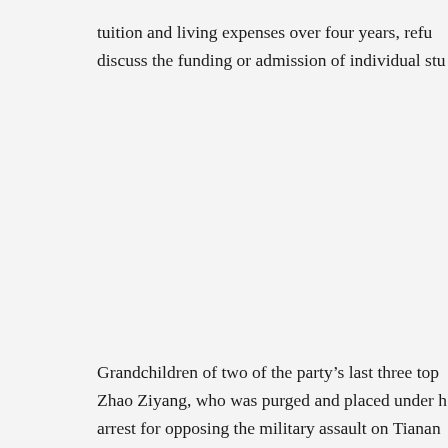tuition and living expenses over four years, refu­ discuss the funding or admission of individual stu­
Grandchildren of two of the party's last three top Zhao Ziyang, who was purged and placed under h arrest for opposing the military assault on Tianan